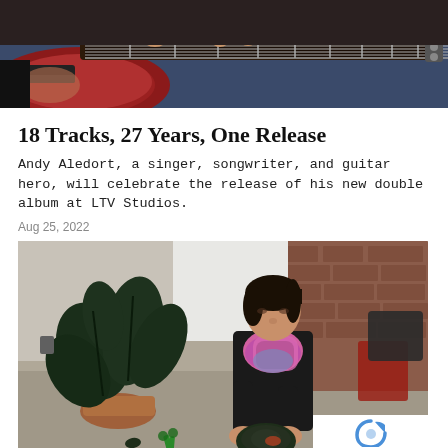[Figure (photo): Close-up of hands playing a red electric guitar (Les Paul style) with a dark background, showing the guitar neck and body]
18 Tracks, 27 Years, One Release
Andy Aledort, a singer, songwriter, and guitar hero, will celebrate the release of his new double album at LTV Studios.
Aug 25, 2022
[Figure (photo): A woman with dark hair and a colorful pink/purple scarf, wearing a black top, sits on a concrete floor in a studio space with brick walls, working on a dark fabric piece. A potted plant with large dark leaves is to her left. Scissors are on the floor in front of her.]